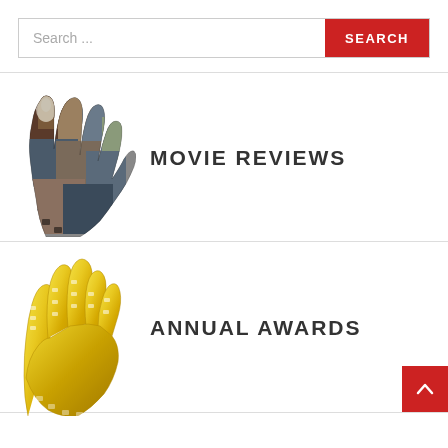Search ...
SEARCH
[Figure (illustration): Film strip shaped like an open hand filled with movie collage images]
MOVIE REVIEWS
[Figure (illustration): Gold/yellow film strip shaped like an open hand]
ANNUAL AWARDS